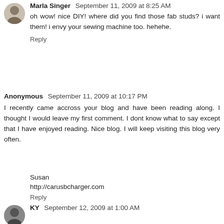Marla Singer  September 11, 2009 at 8:25 AM
oh wow! nice DIY! where did you find those fab studs? i want them! i envy your sewing machine too. hehehe.
Reply
Anonymous  September 11, 2009 at 10:17 PM
I recently came accross your blog and have been reading along. I thought I would leave my first comment. I dont know what to say except that I have enjoyed reading. Nice blog. I will keep visiting this blog very often.
Susan
http://carusbcharger.com
Reply
KY  September 12, 2009 at 1:00 AM